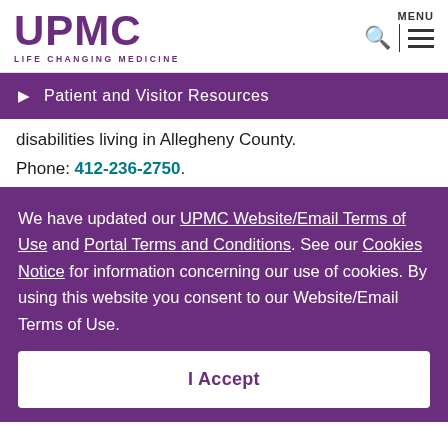UPMC LIFE CHANGING MEDICINE
Patient and Visitor Resources
disabilities living in Allegheny County.
Phone: 412-236-2750.
We have updated our UPMC Website/Email Terms of Use and Portal Terms and Conditions. See our Cookies Notice for information concerning our use of cookies. By using this website you consent to our Website/Email Terms of Use.
I Accept